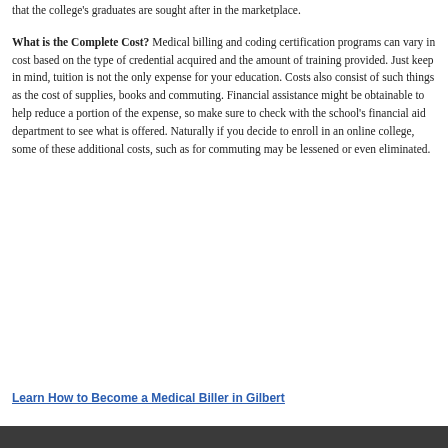that the college's graduates are sought after in the marketplace.
What is the Complete Cost? Medical billing and coding certification programs can vary in cost based on the type of credential acquired and the amount of training provided. Just keep in mind, tuition is not the only expense for your education. Costs also consist of such things as the cost of supplies, books and commuting. Financial assistance might be obtainable to help reduce a portion of the expense, so make sure to check with the school's financial aid department to see what is offered. Naturally if you decide to enroll in an online college, some of these additional costs, such as for commuting may be lessened or even eliminated.
Learn How to Become a Medical Biller in Gilbert